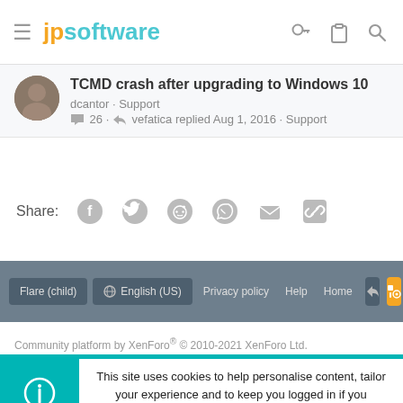jpsoftware
TCMD crash after upgrading to Windows 10
dcantor · Support
26 · vefatica replied Aug 1, 2016 · Support
Share:
Flare (child)  English (US)  Privacy policy  Help  Home
Community platform by XenForo® © 2010-2021 XenForo Ltd.
This site uses cookies to help personalise content, tailor your experience and to keep you logged in if you register.
By continuing to use this site, you are consenting to our use of cookies.